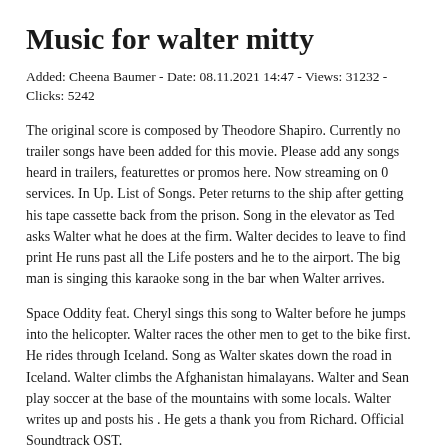Music for walter mitty
Added: Cheena Baumer - Date: 08.11.2021 14:47 - Views: 31232 - Clicks: 5242
The original score is composed by Theodore Shapiro. Currently no trailer songs have been added for this movie. Please add any songs heard in trailers, featurettes or promos here. Now streaming on 0 services. In Up. List of Songs. Peter returns to the ship after getting his tape cassette back from the prison. Song in the elevator as Ted asks Walter what he does at the firm. Walter decides to leave to find print He runs past all the Life posters and he to the airport. The big man is singing this karaoke song in the bar when Walter arrives.
Space Oddity feat. Cheryl sings this song to Walter before he jumps into the helicopter. Walter races the other men to get to the bike first. He rides through Iceland. Song as Walter skates down the road in Iceland. Walter climbs the Afghanistan himalayans. Walter and Sean play soccer at the base of the mountains with some locals. Walter writes up and posts his . He gets a thank you from Richard. Official Soundtrack OST.